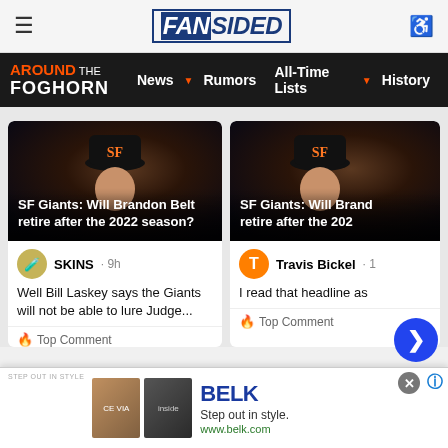FanSided — hamburger menu, logo, accessibility icon
Around The Foghorn — News, Rumors, All-Time Lists, History
[Figure (screenshot): SF Giants player wearing SF Giants cap, dark background — article card left]
SF Giants: Will Brandon Belt retire after the 2022 season?
[Figure (screenshot): SF Giants player wearing SF Giants cap, dark background — article card right (partially visible)]
SF Giants: Will Brandon Belt retire after the 202…
SKINS · 9h
Well Bill Laskey says the Giants will not be able to lure Judge...
Travis Bickel · 1
I read that headline as…
[Figure (infographic): BELK advertisement. Step out in style. www.belk.com. Two thumbnail images of clothing/shoes.]